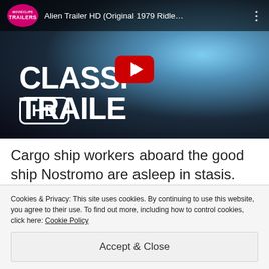[Figure (screenshot): YouTube video thumbnail for 'Alien Trailer HD (Original 1979 Ridle...' showing classic trailer HD text overlay with YouTube play button, dark space background with cyan glow]
Cargo ship workers aboard the good ship Nostromo are asleep in stasis. They're
Cookies & Privacy: This site uses cookies. By continuing to use this website, you agree to their use. To find out more, including how to control cookies, click here: Cookie Policy
Accept & Close